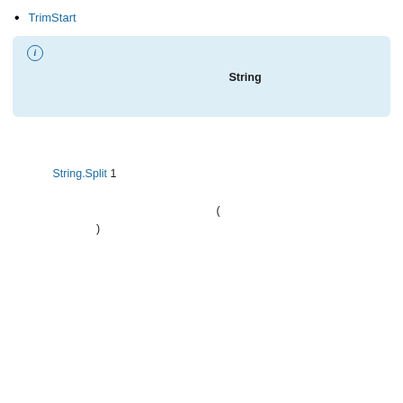TrimStart メソッドは、現在の文字列の先頭から文字を削除します
注意

この API は、現在のプラットフォームでは完全にサポートされていない可能性があります。 String クラスを使用してストリングをトリミングしてください。
パフォーマンスに関する考慮事項
次に String.Split 1 つの文字区切り記号を使用する例を示します。 区切り記号を含む文字列を渡すと、メソッドは文字列内の各区切り文字で配列に分割します (空の配列要素を含む例がありますが、それも含まれます)。 戻り値の文字列配列には7個の要素があります。
関連項目